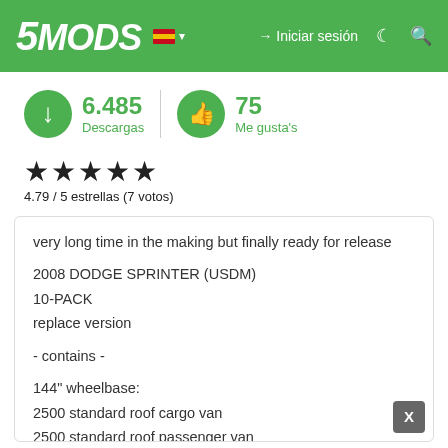5MODS — Iniciar sesión
6.485 Descargas | 75 Me gusta's
★★★★★
4.79 / 5 estrellas (7 votos)
very long time in the making but finally ready for release

2008 DODGE SPRINTER (USDM)
10-PACK
replace version

- contains -

144" wheelbase:
2500 standard roof cargo van
2500 standard roof passenger van
2500 high roof cargo van